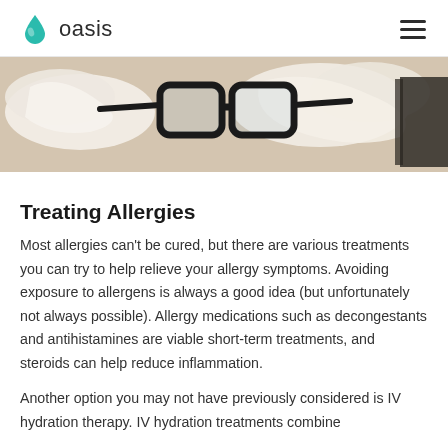oasis
[Figure (photo): Close-up photo of black-framed glasses resting among crumpled white tissues on a woven surface, suggesting allergy symptoms]
Treating Allergies
Most allergies can't be cured, but there are various treatments you can try to help relieve your allergy symptoms. Avoiding exposure to allergens is always a good idea (but unfortunately not always possible). Allergy medications such as decongestants and antihistamines are viable short-term treatments, and steroids can help reduce inflammation.
Another option you may not have previously considered is IV hydration therapy. IV hydration treatments combine